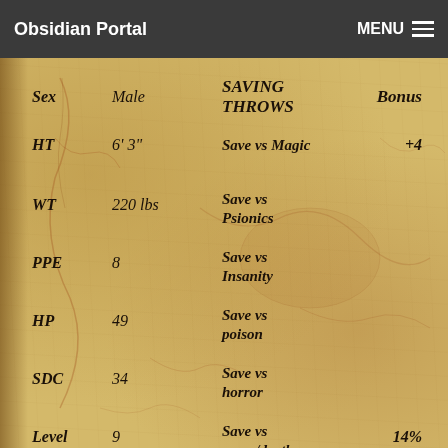Obsidian Portal   MENU
| Stat | Value | Saving Throw | Bonus |
| --- | --- | --- | --- |
| Sex | Male | SAVING THROWS | Bonus |
| HT | 6' 3" | Save vs Magic | +4 |
| WT | 220 lbs | Save vs Psionics |  |
| PPE | 8 | Save vs Insanity |  |
| HP | 49 | Save vs poison |  |
| SDC | 34 | Save vs horror |  |
| Level | 9 | Save vs coma/death | 14% |
| Exp. | 78,250 |  |  |